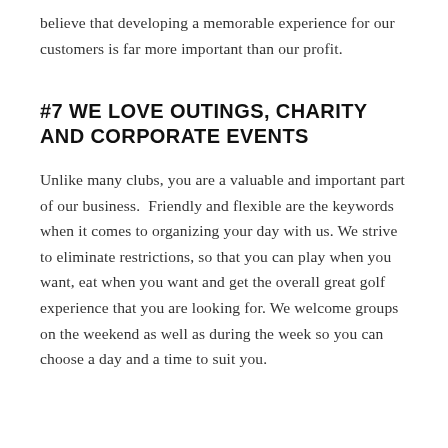believe that developing a memorable experience for our customers is far more important than our profit.
#7 WE LOVE OUTINGS, CHARITY AND CORPORATE EVENTS
Unlike many clubs, you are a valuable and important part of our business.  Friendly and flexible are the keywords when it comes to organizing your day with us. We strive to eliminate restrictions, so that you can play when you want, eat when you want and get the overall great golf experience that you are looking for. We welcome groups on the weekend as well as during the week so you can choose a day and a time to suit you.